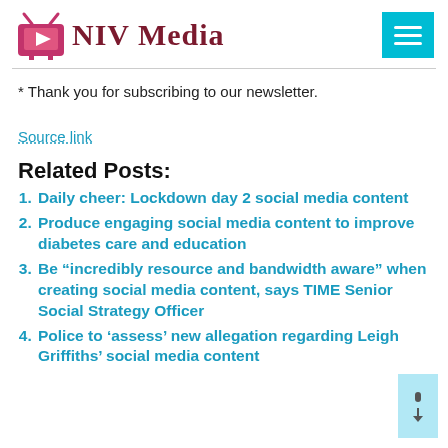[Figure (logo): NIV Media logo with pink TV icon and dark red serif text]
* Thank you for subscribing to our newsletter.
Source link
Related Posts:
Daily cheer: Lockdown day 2 social media content
Produce engaging social media content to improve diabetes care and education
Be “incredibly resource and bandwidth aware” when creating social media content, says TIME Senior Social Strategy Officer
Police to ‘assess’ new allegation regarding Leigh Griffiths’ social media content